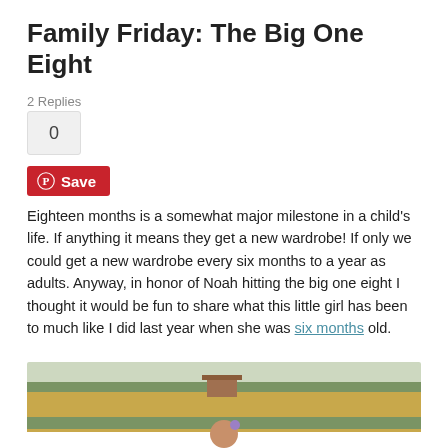Family Friday: The Big One Eight
2 Replies
0
Save
Eighteen months is a somewhat major milestone in a child’s life. If anything it means they get a new wardrobe! If only we could get a new wardrobe every six months to a year as adults. Anyway, in honor of Noah hitting the big one eight I thought it would be fun to share what this little girl has been to much like I did last year when she was six months old.
[Figure (photo): Outdoor photo of a young child standing in a field with trees and farm buildings in the background]